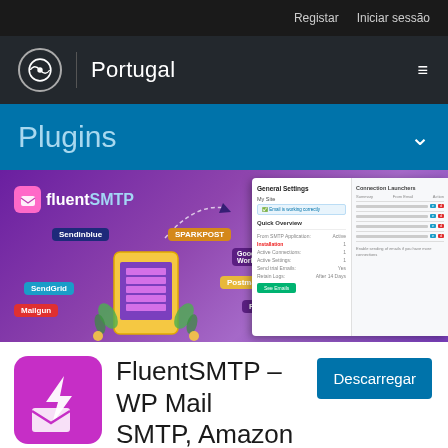Registar   Iniciar sessão
Portugal
Plugins
[Figure (screenshot): FluentSMTP plugin banner showing service integrations (SendInblue, SPARKPOST, Amazon SES, Google Workspace, SendGrid, Postmark, Mailgun, Pepipost) with a settings screenshot panel on the right]
FluentSMTP – WP Mail SMTP, Amazon SES,
Descarregar